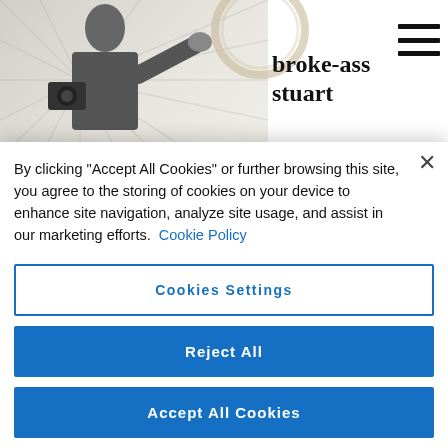broke-ass stuart
definition of gentrification.” I won’t argue you; it’s true. As
TOMMY BURSON - TOMMY SALAMI NEVER EXPIRES
By clicking “Accept All Cookies” or further browsing this site, you agree to the storing of cookies on your device to enhance site navigation, analyze site usage, and assist in our marketing efforts. Cookie Policy
Cookies Settings
Reject All
Accept All Cookies